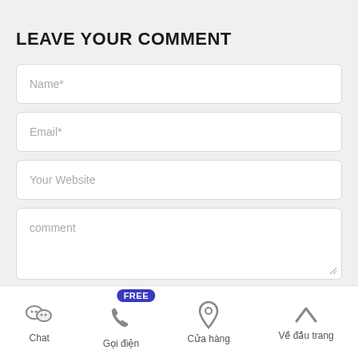LEAVE YOUR COMMENT
Name*
Email*
Your Website
comment
SUBMIT
Chat | Gọi điện | Cửa hàng | Về đầu trang